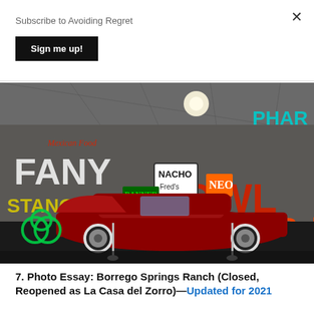Subscribe to Avoiding Regret
Sign me up!
[Figure (photo): Interior of a neon sign museum with a red classic car (Chevrolet Monte Carlo) on display, surrounded by numerous vintage neon signs including BOWL, MUSTANG bar, NACHO, Mexican Food, and others, in a large warehouse-like space.]
7. Photo Essay: Borrego Springs Ranch (Closed, Reopened as La Casa del Zorro)—Updated for 2021